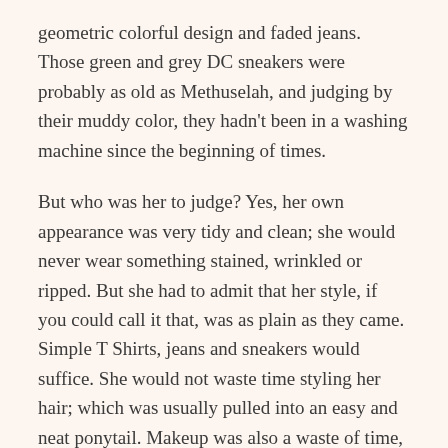geometric colorful design and faded jeans. Those green and grey DC sneakers were probably as old as Methuselah, and judging by their muddy color, they hadn't been in a washing machine since the beginning of times.
But who was her to judge? Yes, her own appearance was very tidy and clean; she would never wear something stained, wrinkled or ripped. But she had to admit that her style, if you could call it that, was as plain as they came. Simple T Shirts, jeans and sneakers would suffice. She would not waste time styling her hair; which was usually pulled into an easy and neat ponytail. Makeup was also a waste of time, although, she had a tube of chapstick in her bag, if that counted for something.
She liked tattoos, but on other people. She would never do something as daring as to permanently